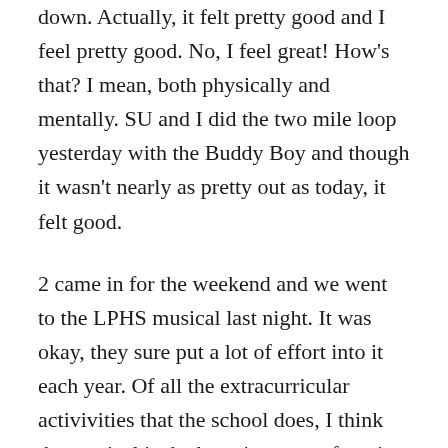down. Actually, it felt pretty good and I feel pretty good. No, I feel great! How's that? I mean, both physically and mentally. SU and I did the two mile loop yesterday with the Buddy Boy and though it wasn't nearly as pretty out as today, it felt good.
2 came in for the weekend and we went to the LPHS musical last night. It was okay, they sure put a lot of effort into it each year. Of all the extracurricular activivities that the school does, I think the musical is the best, in terms of getting the most students involved and getting them involved in something that makes them work with other people and learn how to compromise. Quite